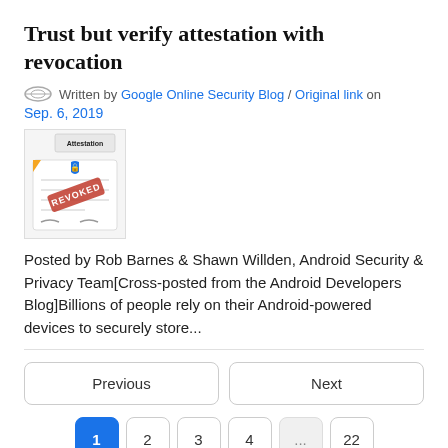Trust but verify attestation with revocation
Written by Google Online Security Blog / Original link on
Sep. 6, 2019
[Figure (illustration): Thumbnail image showing an attestation document with a shield/lock icon and a red REVOKED stamp overlay]
Posted by Rob Barnes & Shawn Willden, Android Security & Privacy Team[Cross-posted from the Android Developers Blog]Billions of people rely on their Android-powered devices to securely store...
Previous
Next
1  2  3  4  ...  22